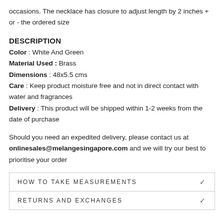occasions. The necklace has closure to adjust length by 2 inches + or - the ordered size
DESCRIPTION
Color : White And Green
Material Used : Brass
Dimensions : 48x5.5 cms
Care : Keep product moisture free and not in direct contact with water and fragrances
Delivery : This product will be shipped within 1-2 weeks from the date of purchase
Should you need an expedited delivery, please contact us at onlinesales@melangesingapore.com and we will try our best to prioritise your order
HOW TO TAKE MEASUREMENTS
RETURNS AND EXCHANGES